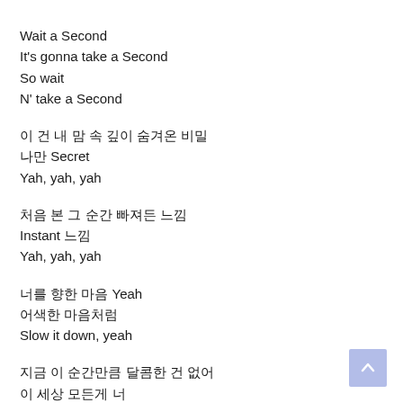Wait a Second
It's gonna take a Second
So wait
N' take a Second
이 건 내 맘 속 깊이 숨겨온 비밀
나만 Secret
Yah, yah, yah
처음 본 그 순간 빠져든 느낌
Instant 느낌
Yah, yah, yah
너를 향한 마음 Yeah
어색한 마음처럼
Slow it down, yeah
지금 이 순간만큼 달콤한 건 없어
이 세상 모든게 너